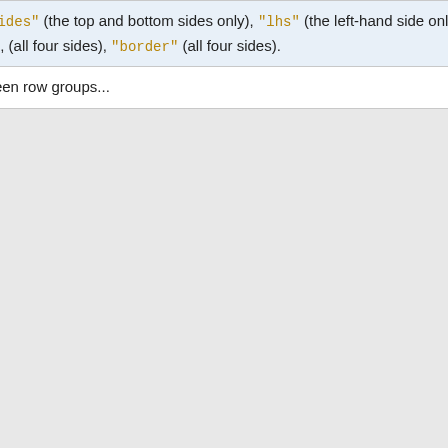| Attribute | Description |
| --- | --- |
|  | "above" (the top side only), "below" (the bottom side only), "hsides" (the top and bottom sides only), "lhs" (the left-hand side only), "rhs" (the right-hand side only), "vsides" (the right and left sides only), (all four sides), "border" (all four sides). |
| tablerules | Table rules, "none" (no rules), "groups" (rules will appear between row groups... |